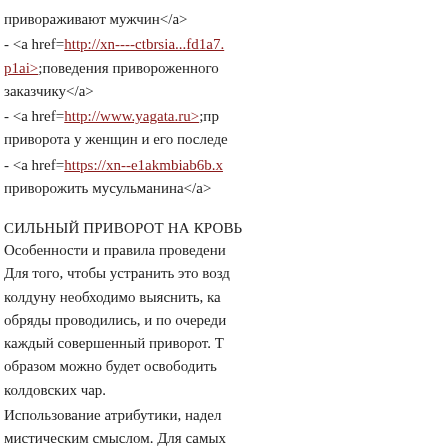привораживают мужчин</a>
- <a href=http://xn----ctbrsia...fd1a7.p1ai>;поведения привороженного заказчику</a>
- <a href=http://www.yagata.ru>;приворота у женщин и его последе
- <a href=https://xn--e1akmbiab6b.x приворожить мусульманина</a>
СИЛЬНЫЙ ПРИВОРОТ НА КРОВЬ
Особенности и правила проведени Для того, чтобы устранить это возд колдуну необходимо выяснить, ка обряды проводились, и по очереди каждый совершенный приворот. Т образом можно будет освободить колдовских чар.
Использование атрибутики, надел мистическим смыслом. Для самых